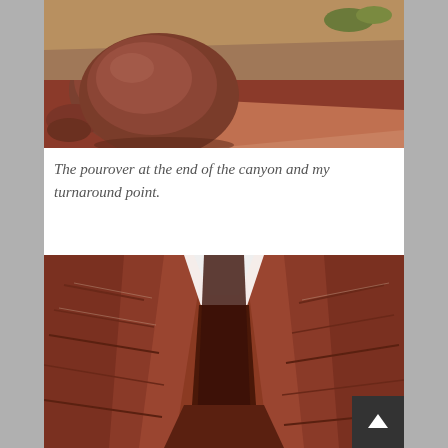[Figure (photo): Desert canyon scene with large reddish-brown boulders on sandy red ground with sparse dry grass and rocky terrain]
The pourover at the end of the canyon and my turnaround point.
[Figure (photo): Narrow slot canyon with layered reddish sandstone walls, looking up toward a thin sliver of bright sky between the canyon walls]